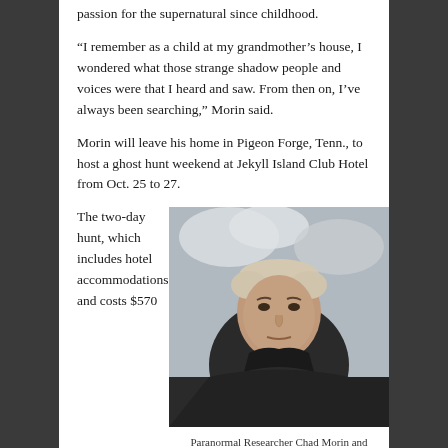passion for the supernatural since childhood.
“I remember as a child at my grandmother’s house, I wondered what those strange shadow people and voices were that I heard and saw. From then on, I’ve always been searching,” Morin said.
Morin will leave his home in Pigeon Forge, Tenn., to host a ghost hunt weekend at Jekyll Island Club Hotel from Oct. 25 to 27.
The two-day hunt, which includes hotel accommodations and costs $570
[Figure (photo): Portrait photo of a middle-aged man with short light hair wearing a dark shirt, looking directly at the camera, with a cloudy sky background.]
Paranormal Researcher Chad Morin and President of Ghost Hunt Weekends